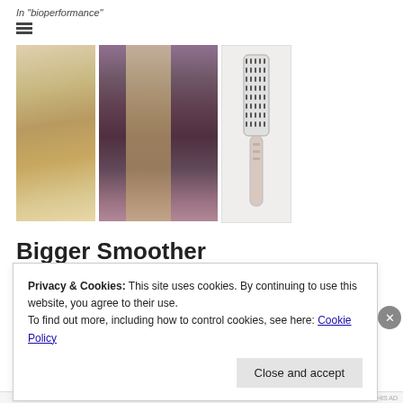In "bioperformance"
[Figure (photo): Three images: two photos of a woman with long blonde hair, and one product photo of a hair styling brush tool.]
Bigger Smoother Plumper
March 5, 2017
Privacy & Cookies: This site uses cookies. By continuing to use this website, you agree to their use.
To find out more, including how to control cookies, see here: Cookie Policy
Close and accept